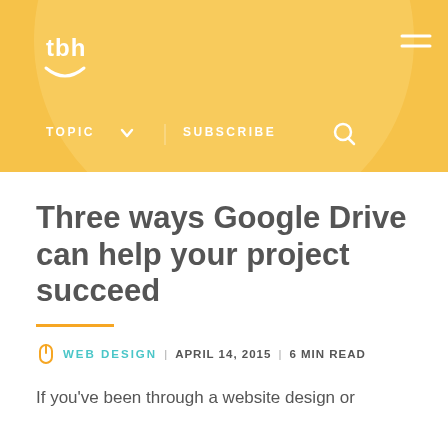[Figure (logo): tbh brand logo with smiley face arc, white text on golden/amber background header area]
TOPIC  ∨   SUBSCRIBE   🔍
Three ways Google Drive can help your project succeed
WEB DESIGN | APRIL 14, 2015 | 6 MIN READ
If you've been through a website design or